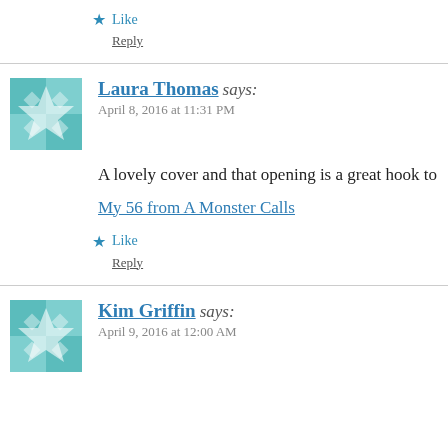★ Like
Reply
Laura Thomas says:
April 8, 2016 at 11:31 PM
A lovely cover and that opening is a great hook to
My 56 from A Monster Calls
★ Like
Reply
Kim Griffin says:
April 9, 2016 at 12:00 AM